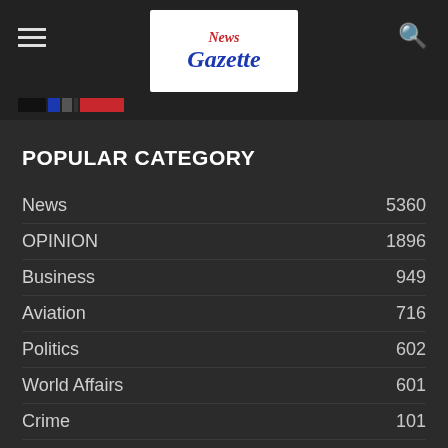News Gazette logo, hamburger menu, search icon
POPULAR CATEGORY
News 5360
OPINION 1896
Business 949
Aviation 716
Politics 602
World Affairs 601
Crime 101
Finance 89
Features 76